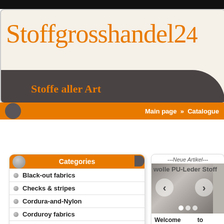Stoffgrosshandel24 – Stoffe aller Art
Main page » Catalogue
Categories
Black-out fabrics
Checks & stripes
Cordura-and-Nylon
Corduroy fabrics
Cotton fabrics
crafting-and-Felt-fabrics
---Neue Artikel---
[Figure (photo): Product image showing wolle PU-Leder Stoff fabric with navigation arrows]
Welcome to textilgrosshandel24.de